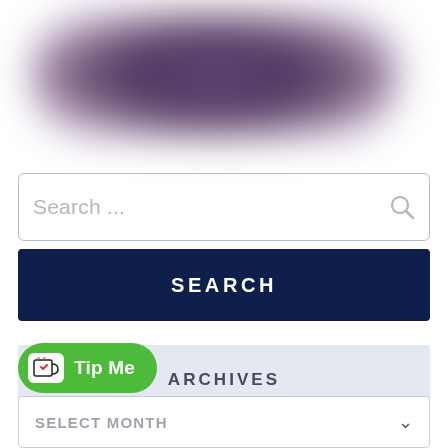[Figure (illustration): Blurred purple/dark banner image at top of page, heavily blurred abstract background]
Search ...
SEARCH
ARCHIVES
[Figure (logo): Green 'Tip Me' button with Ko-fi coffee cup icon]
SELECT MONTH